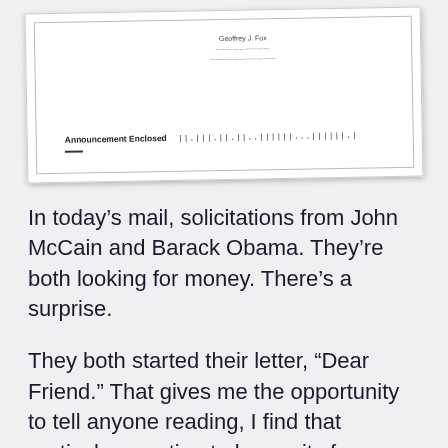[Figure (photo): A scanned envelope showing return address 'Geoffrey J. Fox' with partial address lines, 'Announcement Enclosed' text at bottom left, and a barcode at bottom right.]
In today’s mail, solicitations from John McCain and Barack Obama. They’re both looking for money. There’s a surprise.
They both started their letter, “Dear Friend.” That gives me the opportunity to tell anyone reading, I find that particular greeting to be, on its face, insincere. In many ways, it reminds me of